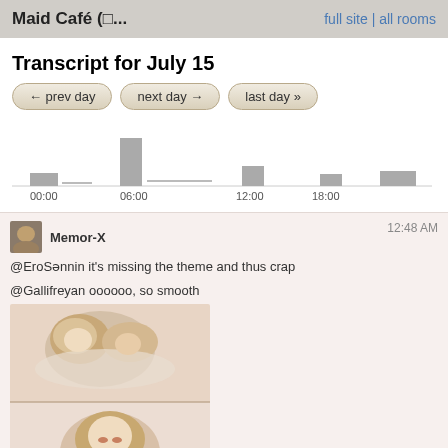Maid Café (□...   full site | all rooms
Transcript for July 15
← prev day
next day →
last day »
[Figure (bar-chart): Activity chart]
Memor-X  12:48 AM
@EroSənnin it's missing the theme and thus crap
@Gallifreyan oooooo, so smooth
[Figure (illustration): Anime illustration of two characters lying down, appearing to be sleeping or resting. Two panels shown.]
★ 3